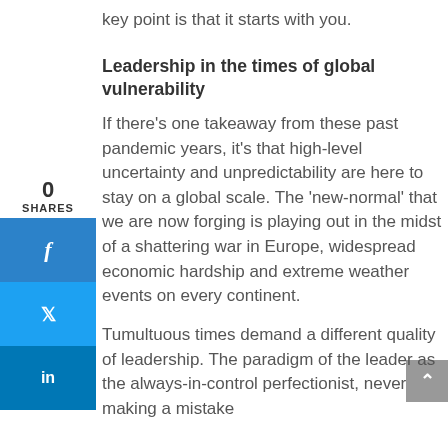key point is that it starts with you.
Leadership in the times of global vulnerability
If there’s one takeaway from these past pandemic years, it’s that high-level uncertainty and unpredictability are here to stay on a global scale. The ‘new-normal’ that we are now forging is playing out in the midst of a shattering war in Europe, widespread economic hardship and extreme weather events on every continent.
Tumultuous times demand a different quality of leadership. The paradigm of the leader as the always-in-control perfectionist, never making a mistake